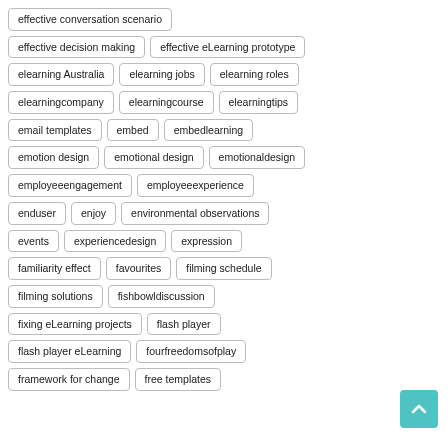effective conversation scenario
effective decision making
effective eLearning prototype
elearning Australia
elearning jobs
elearning roles
elearningcompany
elearningcourse
elearningtips
email templates
embed
embedlearning
emotion design
emotional design
emotionaldesign
employeeengagement
employeeexperience
enduser
enjoy
environmental observations
events
experiencedesign
expression
familiarity effect
favourites
filming schedule
filming solutions
fishbowldiscussion
fixing eLearning projects
flash player
flash player eLearning
fourfreedomsofplay
framework for change
free templates